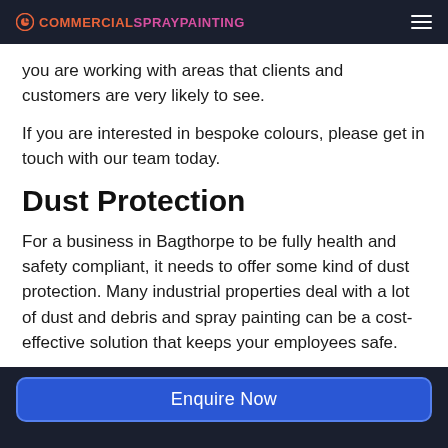COMMERCIALSPRAYPAINTING
you are working with areas that clients and customers are very likely to see.
If you are interested in bespoke colours, please get in touch with our team today.
Dust Protection
For a business in Bagthorpe to be fully health and safety compliant, it needs to offer some kind of dust protection. Many industrial properties deal with a lot of dust and debris and spray painting can be a cost-effective solution that keeps your employees safe.
Enquire Now